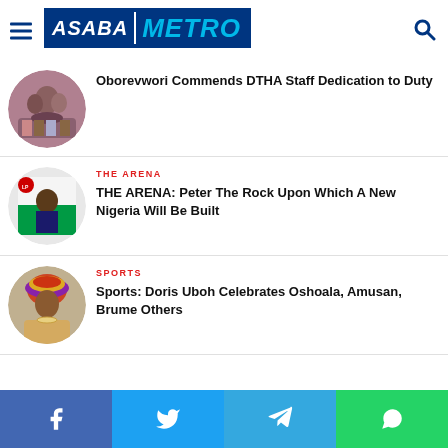Asaba Metro
[Figure (photo): Group of people in formal attire]
Oborevwori Commends DTHA Staff Dedication to Duty
[Figure (photo): Labour Party campaign poster with man in suit]
THE ARENA
THE ARENA: Peter The Rock Upon Which A New Nigeria Will Be Built
[Figure (photo): Woman in colorful headwrap and traditional attire]
SPORTS
Sports: Doris Uboh Celebrates Oshoala, Amusan, Brume Others
Facebook Twitter Telegram WhatsApp